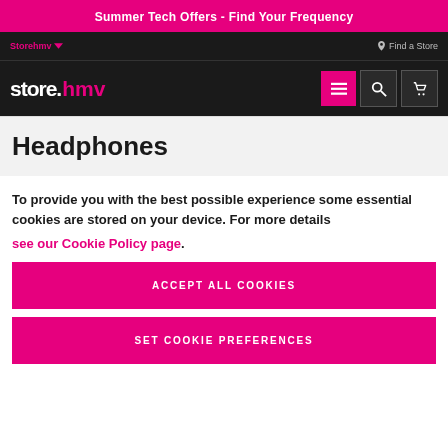Summer Tech Offers - Find Your Frequency
Storehmv  Find a Store
[Figure (logo): store.hmv logo with pink 'hmv' text, menu/search/cart icons]
Headphones
To provide you with the best possible experience some essential cookies are stored on your device. For more details see our Cookie Policy page.
ACCEPT ALL COOKIES
SET COOKIE PREFERENCES